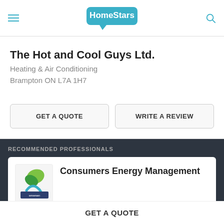HomeStars
The Hot and Cool Guys Ltd.
Heating & Air Conditioning
Brampton ON L7A 1H7
GET A QUOTE
WRITE A REVIEW
RECOMMENDED PROFESSIONALS
Consumers Energy Management
99% (108 reviews)
GET A QUOTE